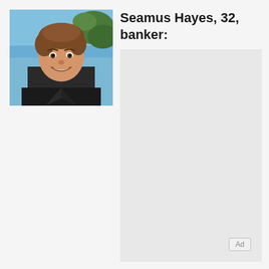[Figure (photo): Portrait photo of a young man with curly brown hair, smiling, wearing a black jacket, outdoors with blue sky and green foliage in background]
Seamus Hayes, 32, banker:
[Figure (other): Advertisement placeholder box with 'Ad' label in bottom right corner]